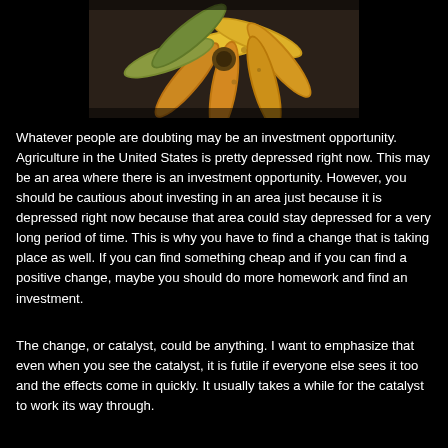[Figure (photo): A bunch of yellow and green bananas arranged on a dark surface, photographed from above.]
Whatever people are doubting may be an investment opportunity. Agriculture in the United States is pretty depressed right now. This may be an area where there is an investment opportunity. However, you should be cautious about investing in an area just because it is depressed right now because that area could stay depressed for a very long period of time. This is why you have to find a change that is taking place as well. If you can find something cheap and if you can find a positive change, maybe you should do more homework and find an investment.
The change, or catalyst, could be anything. I want to emphasize that even when you see the catalyst, it is futile if everyone else sees it too and the effects come in quickly. It usually takes a while for the catalyst to work its way through.